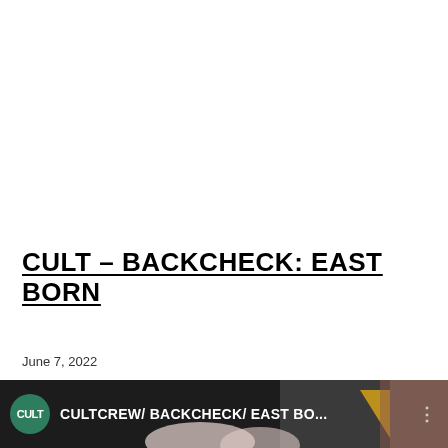CULT – BACKCHECK: EAST BORN
June 7, 2022
[Figure (screenshot): Video thumbnail showing CULTCREW/ BACKCHECK/ EAST BO... with a circular green Cult logo on the left side, text overlay on a dark background with colorful imagery.]